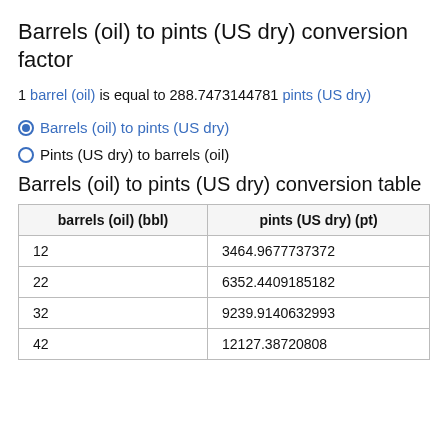Barrels (oil) to pints (US dry) conversion factor
1 barrel (oil) is equal to 288.7473144781 pints (US dry)
Barrels (oil) to pints (US dry)
Pints (US dry) to barrels (oil)
Barrels (oil) to pints (US dry) conversion table
| barrels (oil) (bbl) | pints (US dry) (pt) |
| --- | --- |
| 12 | 3464.9677737372 |
| 22 | 6352.4409185182 |
| 32 | 9239.9140632993 |
| 42 | 12127.38720808 |